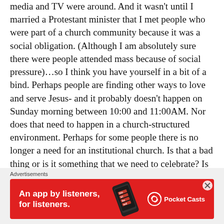media and TV were around. And it wasn't until I married a Protestant minister that I met people who were part of a church community because it was a social obligation. (Although I am absolutely sure there were people attended mass because of social pressure)...so I think you have yourself in a bit of a bind. Perhaps people are finding other ways to love and serve Jesus- and it probably doesn't happen on Sunday morning between 10:00 and 11:00AM. Nor does that need to happen in a church-structured environment. Perhaps for some people there is no longer a need for an institutional church. Is that a bad thing or is it something that we need to celebrate? Is your church environment better than my work environment when it comes to loving and serving Jesus? Old saying of "let go and let aGod comes to mind. Blessings on your ministry...
Advertisements
[Figure (infographic): Pocket Casts advertisement banner. Red background with white text: 'An app by listeners, for listeners.' Shows a phone with 'Distributed' text on screen. Pocket Casts logo on the right.]